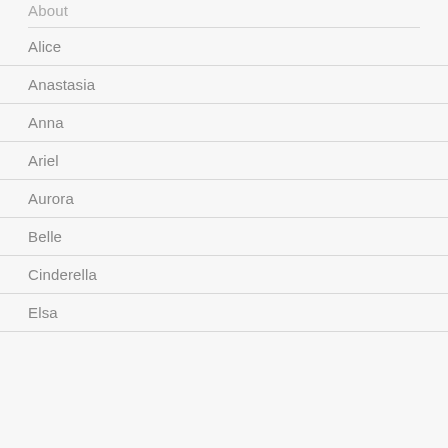About
Alice
Anastasia
Anna
Ariel
Aurora
Belle
Cinderella
Elsa